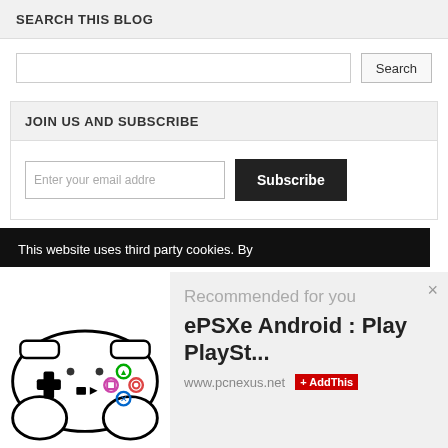SEARCH THIS BLOG
[Figure (screenshot): Search input field with Search button]
JOIN US AND SUBSCRIBE
[Figure (screenshot): Email input field with Subscribe button]
This website uses third party cookies. By
[Figure (illustration): PlayStation controller cartoon illustration]
Recommended for you
ePSXe Android : Play PlaySt...
www.pcnexus.net
+ AddThis